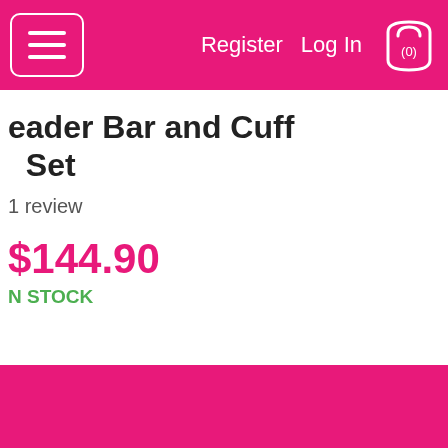Register   Log In   (0)
eader Bar and Cuff Set
1 review
$144.90
N STOCK